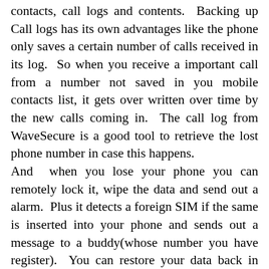contacts, call logs and contents.  Backing up Call logs has its own advantages like the phone only saves a certain number of calls received in its log.  So when you receive a important call from a number not saved in you mobile contacts list, it gets over written over time by the new calls coming in.  The call log from WaveSecure is a good tool to retrieve the lost phone number in case this happens. And  when you lose your phone you can remotely lock it, wipe the data and send out a alarm.  Plus it detects a foreign SIM if the same is inserted into your phone and sends out a message to a buddy(whose number you have register).  You can restore your data back in case you find your phone. Another big advantage is you can lock your phone when you are not using it and have to keep it away from you(for charging etc.).  No one except you can open the phone(you have to input the pin number). The Pin Number is your password both for the phone and to the WaveSecure website, where you